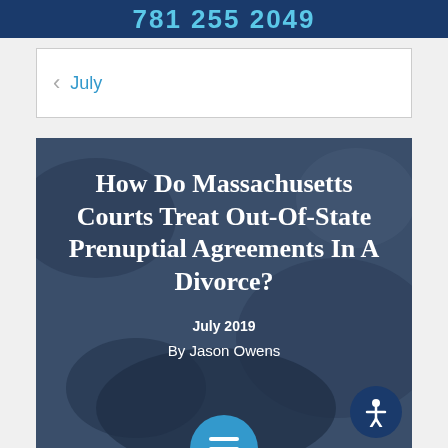781 255 2049
< July
How Do Massachusetts Courts Treat Out-Of-State Prenuptial Agreements In A Divorce?
July 2019
By Jason Owens